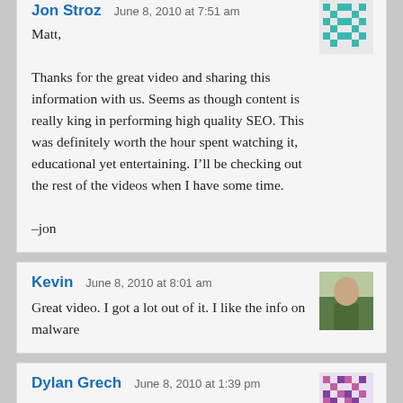Jon Stroz   June 8, 2010 at 7:51 am
Matt,

Thanks for the great video and sharing this information with us. Seems as though content is really king in performing high quality SEO. This was definitely worth the hour spent watching it, educational yet entertaining. I'll be checking out the rest of the videos when I have some time.

–jon
Kevin   June 8, 2010 at 8:01 am
Great video. I got a lot out of it. I like the info on malware
Dylan Grech   June 8, 2010 at 1:39 pm